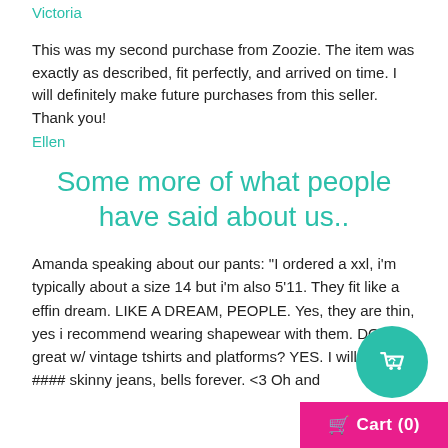Victoria
This was my second purchase from Zoozie. The item was exactly as described, fit perfectly, and arrived on time. I will definitely make future purchases from this seller. Thank you!
Ellen
Some more of what people have said about us..
Amanda speaking about our pants: "I ordered a xxl, i'm typically about a size 14 but i'm also 5'11. They fit like a effin dream. LIKE A DREAM, PEOPLE. Yes, they are thin, yes i recommend wearing shapewear with them. DO they look great w/ vintage tshirts and platforms? YES. I will b more. #### skinny jeans, bells forever. <3 Oh and